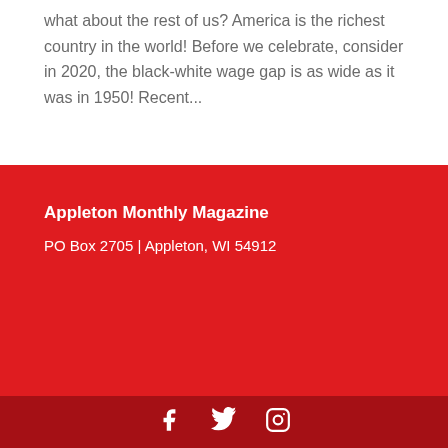what about the rest of us? America is the richest country in the world! Before we celebrate, consider in 2020, the black-white wage gap is as wide as it was in 1950! Recent...
Appleton Monthly Magazine
PO Box 2705 | Appleton, WI 54912
Social icons: Facebook, Twitter, Instagram